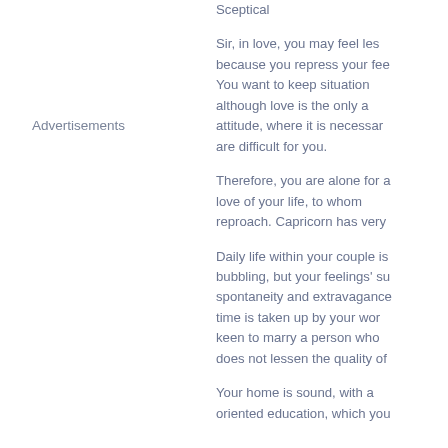Sceptical
Sir, in love, you may feel less because you repress your fee... You want to keep situation... although love is the only a attitude, where it is necessary are difficult for you.
Advertisements
Therefore, you are alone for a love of your life, to whom reproach. Capricorn has very
Daily life within your couple is bubbling, but your feelings' su spontaneity and extravagance time is taken up by your wor keen to marry a person who does not lessen the quality of
Your home is sound, with a oriented education, which you